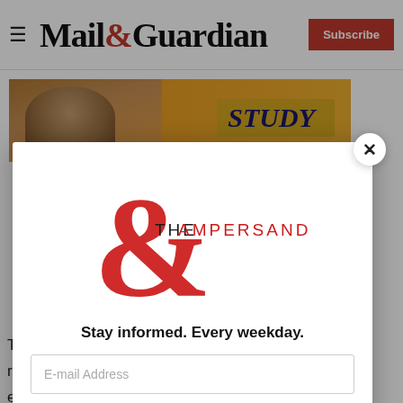Mail&Guardian — Subscribe
[Figure (illustration): Advertisement banner with a person's face and the word STUDY in italic bold text on a golden/orange background]
T
re
es
b
[Figure (logo): The Ampersand newsletter logo — large red ampersand symbol with THE AMPERSAND text]
Stay informed. Every weekday.
E-mail Address
Signup now